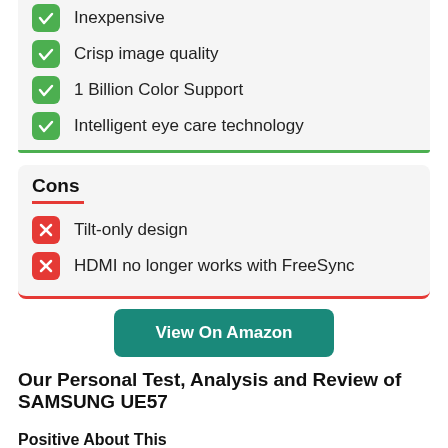Inexpensive
Crisp image quality
1 Billion Color Support
Intelligent eye care technology
Cons
Tilt-only design
HDMI no longer works with FreeSync
View On Amazon
Our Personal Test, Analysis and Review of SAMSUNG UE57
Positive About This
With AMD FreeSync, the Samsung UE57 monitor has a